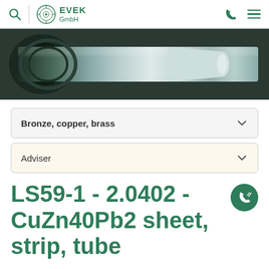EVEK GmbH navigation bar with search, logo, phone and menu icons
[Figure (photo): Close-up photo of a metallic cylindrical machined part (roller or tube), silvery steel surface with industrial tooling visible in background]
Bronze, copper, brass
Adviser
LS59-1 - 2.0402 - CuZn40Pb2 sheet, strip, tube